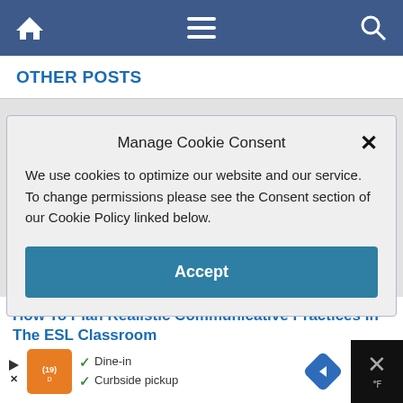[Figure (screenshot): Website navigation bar with home icon, hamburger menu, and search icon on a dark blue background]
OTHER POSTS
[Figure (screenshot): Cookie consent modal dialog with title 'Manage Cookie Consent', descriptive text about cookies, and an Accept button]
How To Plan Realistic Communicative Practices In The ESL Classroom
July 2, 2020
[Figure (screenshot): Advertisement bar at the bottom showing a restaurant with Dine-in and Curbside pickup options]